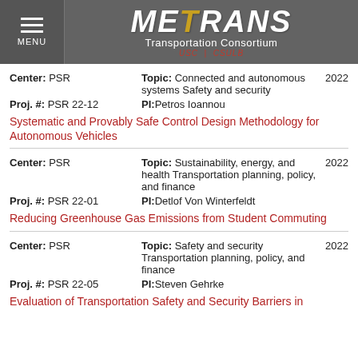[Figure (logo): METRANS Transportation Consortium logo with USC and CSULB logos, on grey header bar with hamburger menu]
Center: PSR   Topic: Connected and autonomous systems Safety and security   2022
Proj. #: PSR 22-12   PI: Petros Ioannou
Systematic and Provably Safe Control Design Methodology for Autonomous Vehicles
Center: PSR   Topic: Sustainability, energy, and health Transportation planning, policy, and finance   2022
Proj. #: PSR 22-01   PI: Detlof Von Winterfeldt
Reducing Greenhouse Gas Emissions from Student Commuting
Center: PSR   Topic: Safety and security Transportation planning, policy, and finance   2022
Proj. #: PSR 22-05   PI: Steven Gehrke
Evaluation of Transportation Safety and Security Barriers in Disproportionate...